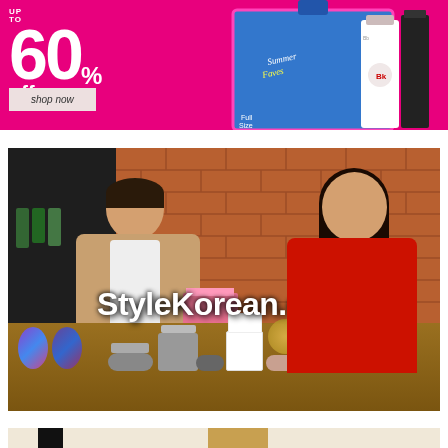[Figure (infographic): Pink/magenta promotional banner advertising 'Up to 60% off' sale with 'shop now' button and product gift set image on the right showing blue gift box with white bottles]
[Figure (photo): Screenshot of StyleKorean.com promotional video featuring two Korean women sitting at a table covered with various beauty products (cushion foundations, powder compacts, skincare items) in front of a brick wall backdrop. Large white text overlay reads 'StyleKorean.com']
[Figure (photo): Partial view of a third promotional image showing beauty products on a light beige/cream background, partially cut off at the bottom of the page]